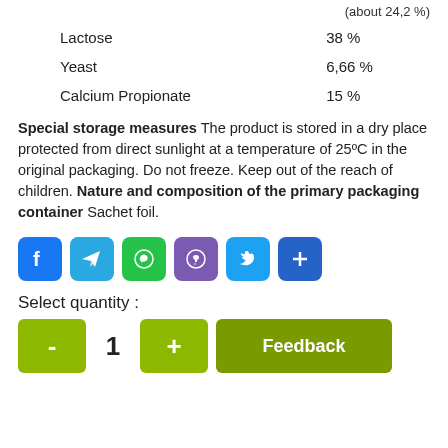(about 24,2 %)
| Ingredient | Amount |
| --- | --- |
| Lactose | 38 % |
| Yeast | 6,66 % |
| Calcium Propionate | 15 % |
Special storage measures The product is stored in a dry place protected from direct sunlight at a temperature of 25ºC in the original packaging. Do not freeze. Keep out of the reach of children. Nature and composition of the primary packaging container Sachet foil.
[Figure (infographic): Row of social sharing icon buttons: Facebook (blue), Telegram (light blue), WhatsApp (green), Viber (purple), Twitter (blue), Share/More (blue)]
Select quantity :
- 1 + Feedback